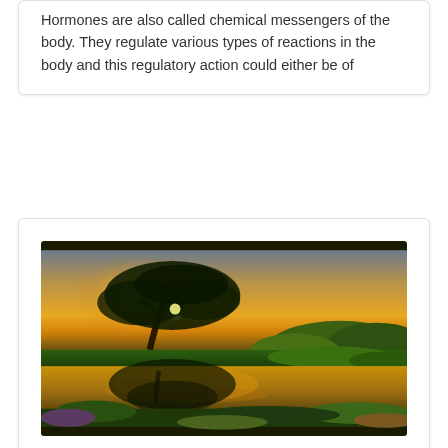Hormones are also called chemical messengers of the body. They regulate various types of reactions in the body and this regulatory action could either be of
[Figure (photo): HDR landscape photo of a large tree at sunset with its reflection in a calm river or pond, surrounded by green vegetation and a dramatic golden sky.]
When methane is burned with oxygen